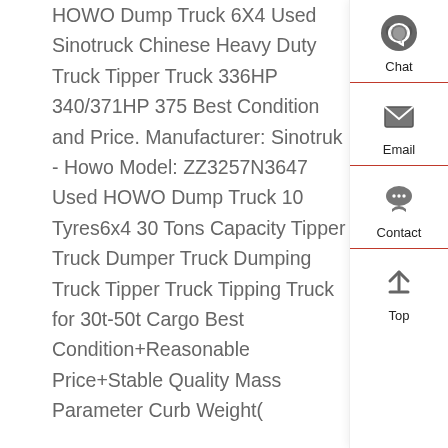HOWO Dump Truck 6X4 Used Sinotruck Chinese Heavy Duty Truck Tipper Truck 336HP 340/371HP 375 Best Condition and Price. Manufacturer: Sinotruk - Howo Model: ZZ3257N3647 Used HOWO Dump Truck 10 Tyres6x4 30 Tons Capacity Tipper Truck Dumper Truck Dumping Truck Tipper Truck Tipping Truck for 30t-50t Cargo Best Condition+Reasonable Price+Stable Quality Mass Parameter Curb Weight(
[Figure (infographic): Sidebar navigation panel with four items: Chat (headset icon), Email (envelope icon), Contact (speech bubble icon), Top (up arrow icon), separated by red lines.]